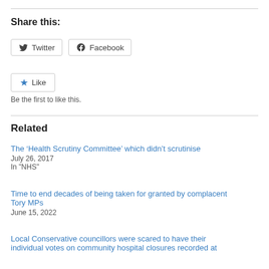Share this:
Twitter  Facebook
Like
Be the first to like this.
Related
The ‘Health Scrutiny Committee’ which didn’t scrutinise
July 26, 2017
In "NHS"
Time to end decades of being taken for granted by complacent Tory MPs
June 15, 2022
Local Conservative councillors were scared to have their individual votes on community hospital closures recorded at